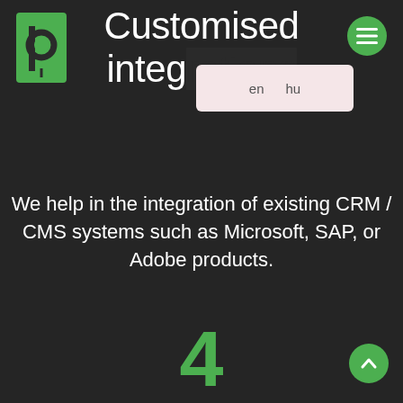[Figure (logo): Green bookmark/pin shaped logo with letter p]
Customised integ...
[Figure (other): Language selector overlay showing 'en' and 'hu' options]
[Figure (other): Hamburger menu button (green circle with three lines)]
We help in the integration of existing CRM / CMS systems such as Microsoft, SAP, or Adobe products.
4
IT security and support
[Figure (other): Scroll-up button (green circle with up arrow)]
We use high-level security solutions for